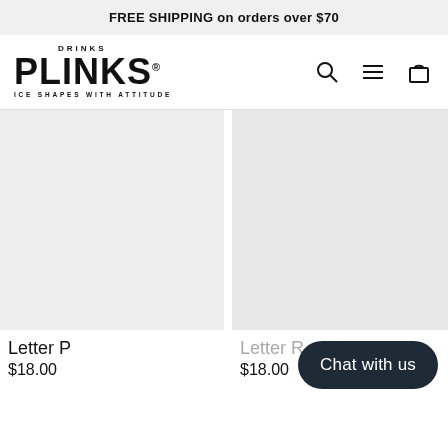FREE SHIPPING on orders over $70
[Figure (logo): Drinks Plinks logo — large bold PLINKS text with registered trademark, tagline ICE SHAPES WITH ATTITUDE]
Letter P
$18.00
Letter R
$18.00